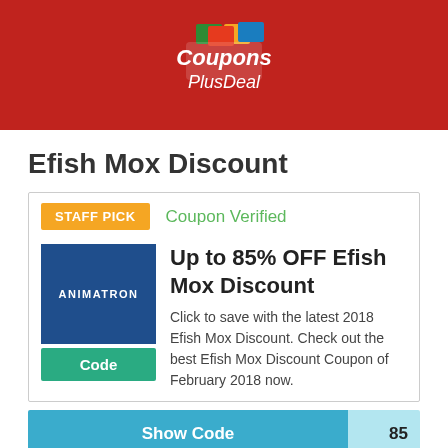[Figure (logo): CouponsPlusDeal logo on red background header bar]
Efish Mox Discount
STAFF PICK
Coupon Verified
[Figure (logo): Animatron brand logo — blue square with white text ANIMATRON]
Code
Up to 85% OFF Efish Mox Discount
Click to save with the latest 2018 Efish Mox Discount. Check out the best Efish Mox Discount Coupon of February 2018 now.
Show Code   85